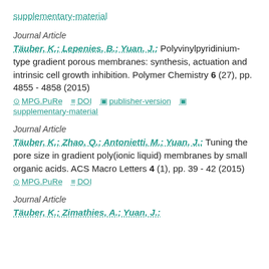supplementary-material
Journal Article
Täuber, K.; Lepenies, B.; Yuan, J.: Polyvinylpyridinium-type gradient porous membranes: synthesis, actuation and intrinsic cell growth inhibition. Polymer Chemistry 6 (27), pp. 4855 - 4858 (2015)
MPG.PuRe   DOI   publisher-version   supplementary-material
Journal Article
Täuber, K.; Zhao, Q.; Antonietti, M.; Yuan, J.: Tuning the pore size in gradient poly(ionic liquid) membranes by small organic acids. ACS Macro Letters 4 (1), pp. 39 - 42 (2015)
MPG.PuRe   DOI
Journal Article
Täuber, K.; Zimathies, A.; Yuan, J.: